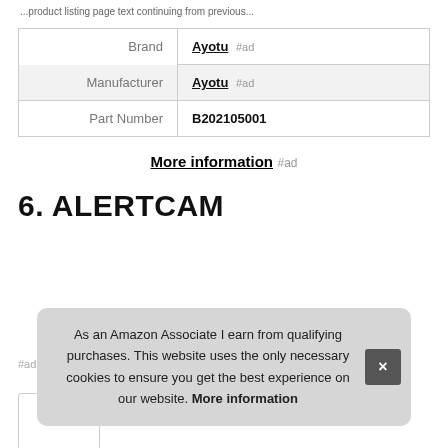...product category listing page ongoing text...
| Brand | Ayotu #ad |
| Manufacturer | Ayotu #ad |
| Part Number | B202105001 |
More information #ad
6. ALERTCAM
#ad
As an Amazon Associate I earn from qualifying purchases. This website uses the only necessary cookies to ensure you get the best experience on our website. More information